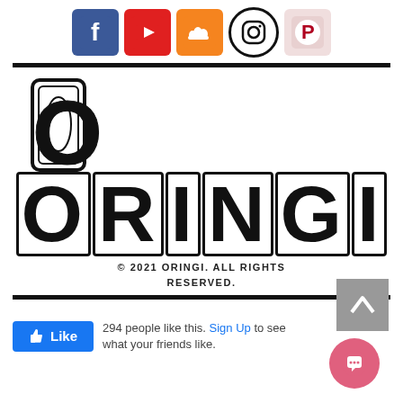[Figure (illustration): Row of five social media icons: Facebook (blue), YouTube (red), SoundCloud (orange), Instagram (black circle), Pinterest (pink/red circle)]
[Figure (logo): ORINGI brand logo in large distressed stamp-style block letters with double borders]
© 2021 ORINGI. ALL RIGHTS RESERVED.
[Figure (illustration): Grey square back-to-top button with upward chevron arrow]
[Figure (illustration): Facebook Like button (blue) showing thumbs up icon and 'Like' text, followed by text '294 people like this. Sign Up to see what your friends like.']
[Figure (illustration): Pink/red circular chat bubble button in bottom right corner]